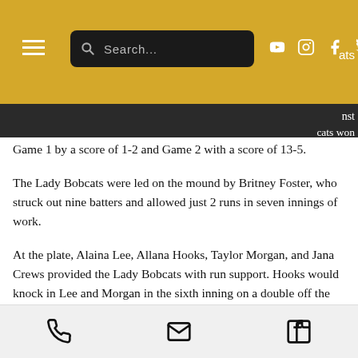Navigation bar with hamburger menu, search box, and social media icons (YouTube, Instagram, Facebook, Twitter). Partial text: 'ats' visible at right.
Game 1 by a score of 1-2 and Game 2 with a score of 13-5.
The Lady Bobcats were led on the mound by Britney Foster, who struck out nine batters and allowed just 2 runs in seven innings of work.
At the plate, Alaina Lee, Allana Hooks, Taylor Morgan, and Jana Crews provided the Lady Bobcats with run support. Hooks would knock in Lee and Morgan in the sixth inning on a double off the center field fence to break a 2-2 tie and give the Lady Bobcats the win at 4-2.
In Game 2, the Lady Bobcats fell behind 2-0 in the first inning but came storming back in the third
Phone, email, and Facebook icons in bottom bar